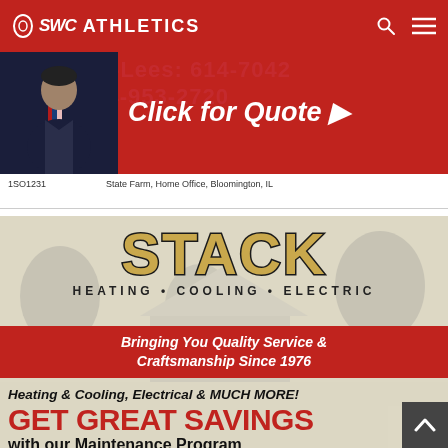[Figure (screenshot): SWC Athletics website navigation bar with red background, SWC Athletics logo with Ohio state outline, search icon, and hamburger menu icon]
[Figure (photo): State Farm advertisement banner on red background with a man in suit photo on the left and 'Click for Quote ▸' text on the right]
1SO1231        State Farm, Home Office, Bloomington, IL
[Figure (illustration): Stack Heating • Cooling • Electric advertisement. Logo in gold/black with tagline 'Bringing You Quality Service & Craftsmanship Since 1976' on red bar, then 'Heating & Cooling, Electrical & MUCH MORE!' and 'GET GREAT SAVINGS with our Maintenance Program']